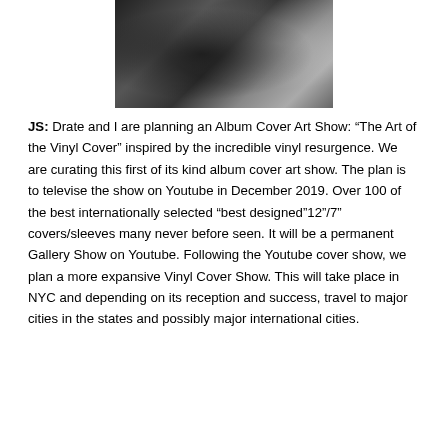[Figure (photo): Black and white photograph of people, cropped at top, showing clothing details]
JS: Drate and I are planning an Album Cover Art Show: “The Art of the Vinyl Cover” inspired by the incredible vinyl resurgence. We are curating this first of its kind album cover art show. The plan is to televise the show on Youtube in December 2019. Over 100 of the best internationally selected “best designed”12”/7” covers/sleeves many never before seen. It will be a permanent Gallery Show on Youtube. Following the Youtube cover show, we plan a more expansive Vinyl Cover Show. This will take place in NYC and depending on its reception and success, travel to major cities in the states and possibly major international cities.